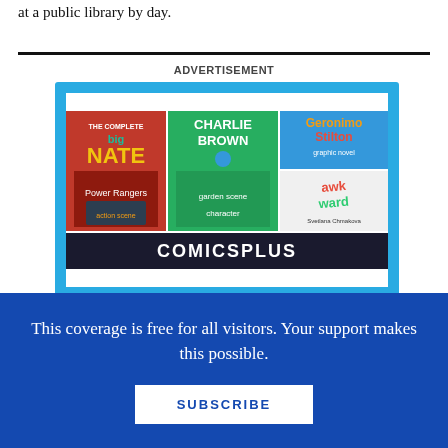at a public library by day.
ADVERTISEMENT
[Figure (illustration): Advertisement for Comics Plus showing book covers including The Complete Big Nate, Charlie Brown, Geronimo Stilton, and Awkward, with a COMICS PLUS logo bar at the bottom.]
This coverage is free for all visitors. Your support makes this possible.
SUBSCRIBE